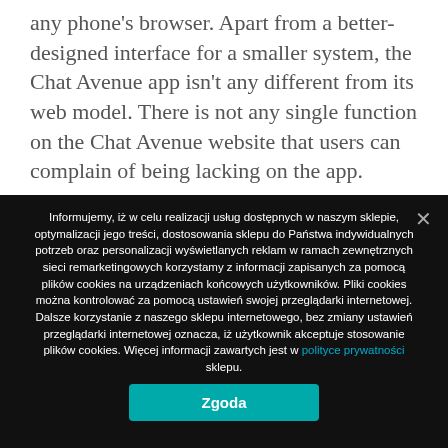any phone's browser. Apart from a better-designed interface for a smaller system, the Chat Avenue app isn't any different from its web model. There is not any single function on the Chat Avenue website that users can complain of being lacking on the app.
Is Sending Messages Free?
Anyway, I've see critiques, requested in, and thought to
Informujemy, iż w celu realizacji usług dostępnych w naszym sklepie, optymalizacji jego treści, dostosowania sklepu do Państwa indywidualnych potrzeb oraz personalizacji wyświetlanych reklam w ramach zewnętrznych sieci remarketingowych korzystamy z informacji zapisanych za pomocą plików cookies na urządzeniach końcowych użytkowników. Pliki cookies można kontrolować za pomocą ustawień swojej przeglądarki internetowej. Dalsze korzystanie z naszego sklepu internetowego, bez zmiany ustawień przeglądarki internetowej oznacza, iż użytkownik akceptuje stosowanie plików cookies. Więcej informacji zawartych jest w polityce prywatności sklepu.
Zgoda